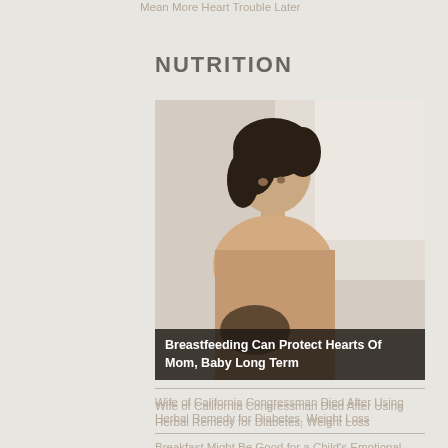Mean More Heart Trouble Later
NUTRITION
[Figure (photo): Woman with dark hair looking downward, soft lighting, health/nutrition article image]
Breastfeeding Can Protect Hearts Of Mom, Baby Long Term
Wife of California Congressman Died After Using Herbal Remedy for Diabetes, Weight Loss
Breakfast Might Be Good for a Child's Emotional Health, Too
Tasty, Nutritious School Lunches for Your Budget
Tips to Food-Fueling Your Active Vegan Child